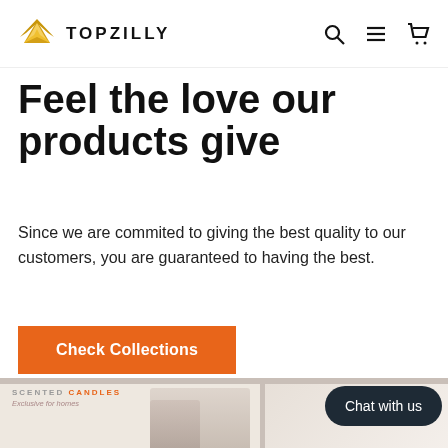TOPZILLY
Feel the love our products give
Since we are commited to giving the best quality to our customers, you are guaranteed to having the best.
Check Collections
[Figure (screenshot): Bottom section showing product images including scented candles and a chat widget with 'Chat with us' button]
SCENTED CANDLES
Exclusive for homes
Chat with us